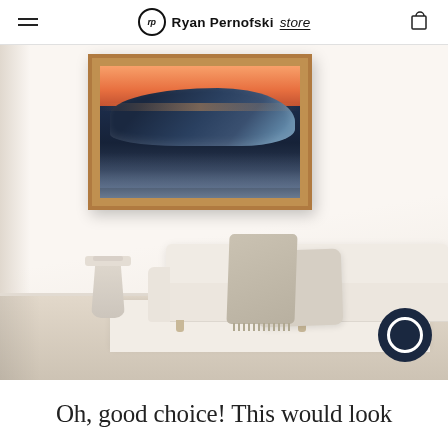Ryan Pernofski Store
[Figure (photo): Interior room scene with a framed ocean wave photograph on white wall above a white sofa with neutral cushion and draped blanket, beside a sculptural side table, on light wood floor with cream rug]
Oh, good choice! This would look